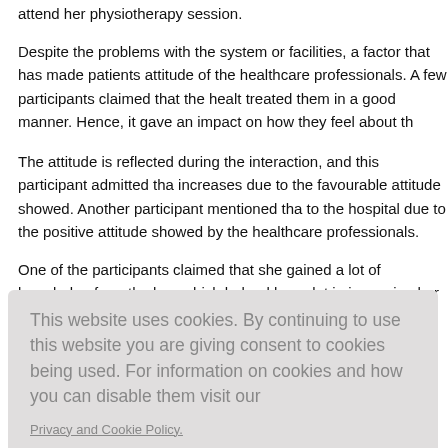attend her physiotherapy session.
Despite the problems with the system or facilities, a factor that has made patients attitude of the healthcare professionals. A few participants claimed that the health treated them in a good manner. Hence, it gave an impact on how they feel about th
The attitude is reflected during the interaction, and this participant admitted that increases due to the favourable attitude showed. Another participant mentioned tha to the hospital due to the positive attitude showed by the healthcare professionals.
One of the participants claimed that she gained a lot of knowledge from the hea which helped her a lot in improving her mobility and gave an impact toward her
[Figure (screenshot): Cookie consent overlay popup with text about cookie usage and a red AGREE & PROCEED button]
by the attitu at the publ waiting time of missing
overcrowded patients, inadequate medical staff, and changing doctors during